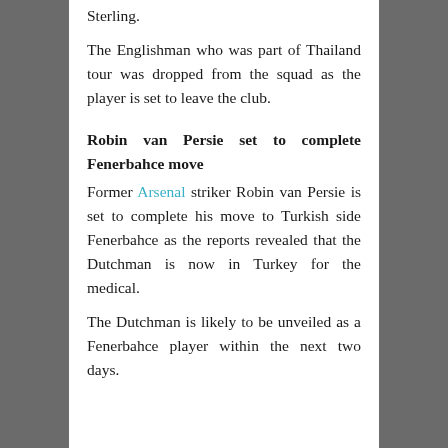Sterling.
The Englishman who was part of Thailand tour was dropped from the squad as the player is set to leave the club.
Robin van Persie set to complete Fenerbahce move
Former Arsenal striker Robin van Persie is set to complete his move to Turkish side Fenerbahce as the reports revealed that the Dutchman is now in Turkey for the medical.
The Dutchman is likely to be unveiled as a Fenerbahce player within the next two days.